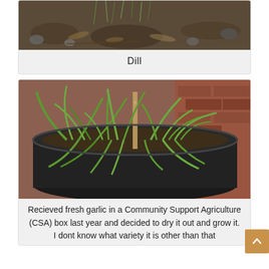[Figure (photo): Photograph of dill plant growing in soil with rocks and mulch visible]
Dill
[Figure (photo): Photograph of garlic plants growing in a dark round container/pot outdoors, with brick wall in background]
Recieved fresh garlic in a Community Support Agriculture (CSA) box last year and decided to dry it out and grow it.
I dont know what variety it is other than that